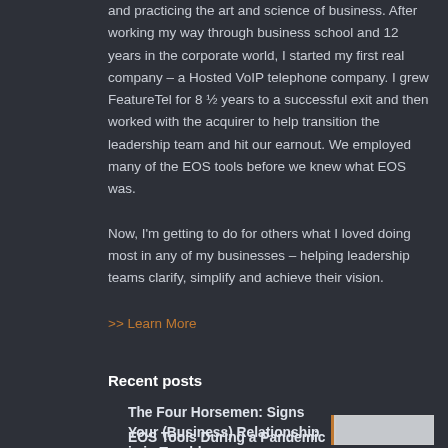and practicing the art and science of business. After working my way through business school and 12 years in the corporate world, I started my first real company – a Hosted VoIP telephone company. I grew FeatureTel for 8 ½ years to a successful exit and then worked with the acquirer to help transition the leadership team and hit our earnout. We employed many of the EOS tools before we knew what EOS was.

Now, I'm getting to do for others what I loved doing most in any of my businesses – helping leadership teams clarify, simplify and achieve their vision.
>> Learn More
Recent posts
The Four Horsemen: Signs Your (Business) Relationship is in Trouble
October 20, 2020
[Figure (photo): Dark moody image of four horsemen silhouettes in fog]
EOS Tools During a Pandemic